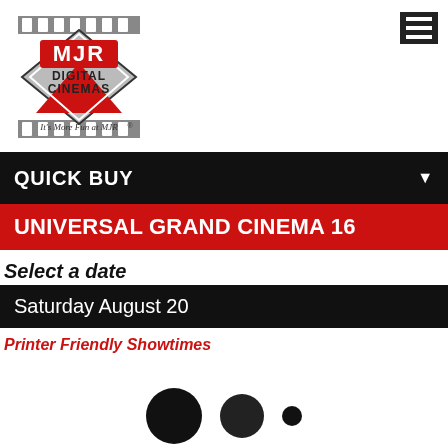[Figure (logo): MJR Digital Cinemas logo with diamond shape, film strip borders, red triangle, and 'It's More Fun at MJR' tagline]
QUICK BUY
UNIVERSAL GRAND CINEMA 16
Select a date
Saturday August 20
Printer Friendly Showtimes